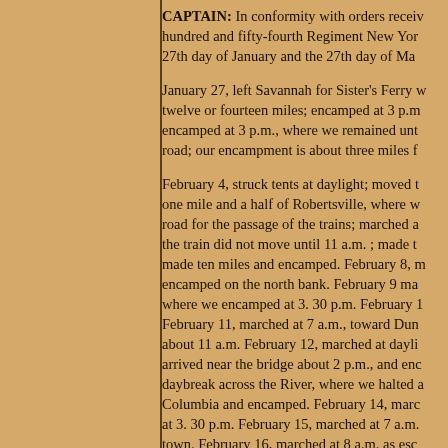CAPTAIN: In conformity with orders received, hundred and fifty-fourth Regiment New York, 27th day of January and the 27th day of March.
January 27, left Savannah for Sister's Ferry with twelve or fourteen miles; encamped at 3 p.m., encamped at 3 p.m., where we remained until road; our encampment is about three miles from...
February 4, struck tents at daylight; moved to one mile and a half of Robertsville, where we road for the passage of the trains; marched and the train did not move until 11 a.m.; made ten miles and encamped. February 8, encamped on the north bank. February 9 marched where we encamped at 3. 30 p.m. February 11, marched at 7 a.m., toward Dunbar about 11 a.m. February 12, marched at daylight arrived near the bridge about 2 p.m., and encamped daybreak across the River, where we halted at Columbia and encamped. February 14, marched at 3. 30 p.m. February 15, marched at 7 a.m. town. February 16, marched at 8 a.m. as escort Zion Church; made five miles. February 18, miles and encamped. February 19, did not march...